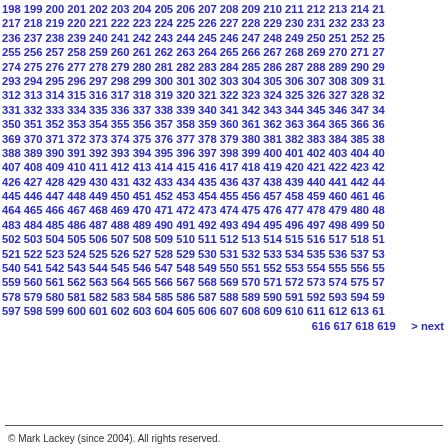198 199 200 201 202 203 204 205 206 207 208 209 210 211 212 213 214 21 217 218 219 220 221 222 223 224 225 226 227 228 229 230 231 232 233 23 236 237 238 239 240 241 242 243 244 245 246 247 248 249 250 251 252 25 255 256 257 258 259 260 261 262 263 264 265 266 267 268 269 270 271 27 274 275 276 277 278 279 280 281 282 283 284 285 286 287 288 289 290 29 293 294 295 296 297 298 299 300 301 302 303 304 305 306 307 308 309 31 312 313 314 315 316 317 318 319 320 321 322 323 324 325 326 327 328 32 331 332 333 334 335 336 337 338 339 340 341 342 343 344 345 346 347 34 350 351 352 353 354 355 356 357 358 359 360 361 362 363 364 365 366 36 369 370 371 372 373 374 375 376 377 378 379 380 381 382 383 384 385 38 388 389 390 391 392 393 394 395 396 397 398 399 400 401 402 403 404 40 407 408 409 410 411 412 413 414 415 416 417 418 419 420 421 422 423 42 426 427 428 429 430 431 432 433 434 435 436 437 438 439 440 441 442 44 445 446 447 448 449 450 451 452 453 454 455 456 457 458 459 460 461 46 464 465 466 467 468 469 470 471 472 473 474 475 476 477 478 479 480 48 483 484 485 486 487 488 489 490 491 492 493 494 495 496 497 498 499 50 502 503 504 505 506 507 508 509 510 511 512 513 514 515 516 517 518 51 521 522 523 524 525 526 527 528 529 530 531 532 533 534 535 536 537 53 540 541 542 543 544 545 546 547 548 549 550 551 552 553 554 555 556 55 559 560 561 562 563 564 565 566 567 568 569 570 571 572 573 574 575 57 578 579 580 581 582 583 584 585 586 587 588 589 590 591 592 593 594 59 597 598 599 600 601 602 603 604 605 606 607 608 609 610 611 612 613 61 616 617 618 619   > next
© Mark Lackey (since 2004). All rights reserved.